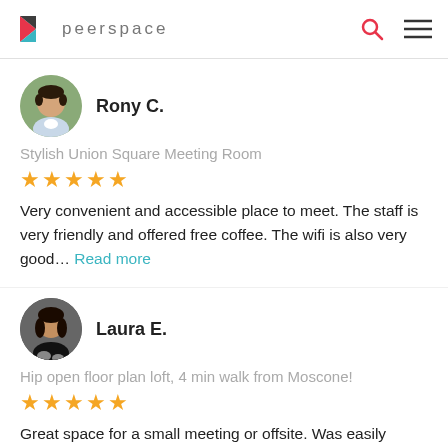peerspace
Rony C.
Stylish Union Square Meeting Room
★★★★★
Very convenient and accessible place to meet. The staff is very friendly and offered free coffee. The wifi is also very good... Read more
Laura E.
Hip open floor plan loft, 4 min walk from Moscone!
★★★★★
Great space for a small meeting or offsite. Was easily